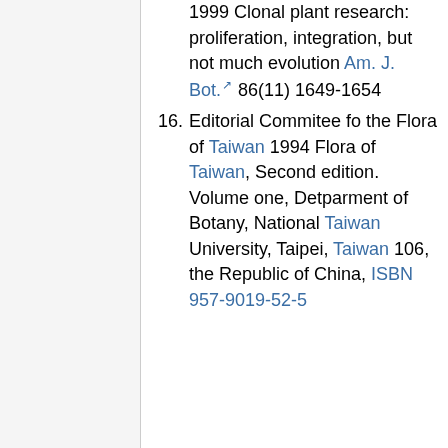1999 Clonal plant research: proliferation, integration, but not much evolution Am. J. Bot. 86(11) 1649-1654
16. Editorial Commitee fo the Flora of Taiwan 1994 Flora of Taiwan, Second edition. Volume one, Detparment of Botany, National Taiwan University, Taipei, Taiwan 106, the Republic of China, ISBN 957-9019-52-5